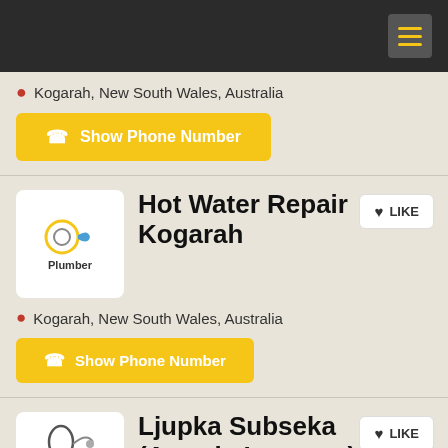Navigation header with hamburger menu
Kogarah, New South Wales, Australia
Show Phone Number
Hot Water Repair Kogarah
Kogarah, New South Wales, Australia
Show Phone Number
Ljupka Subseka (Astoria Lawyers)
Legal Services
Kogarah, New South Wales, Australia